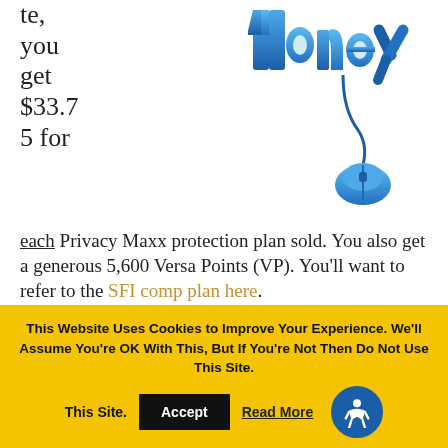[Figure (illustration): Blue 3D 'Money' text with a computer mouse graphic on white background]
te, you get $33.75 for each Privacy Maxx protection plan sold. You also get a generous 5,600 Versa Points (VP). You'll want to refer to the SFI comp plan here.
In an industry where you're paid a few dollars as an affiliate/distributor for products, it's nice
This Website Uses Cookies to Improve Your Experience. We'll Assume You're OK With This, But If You're Not Then Do Not Use This Site. Accept Read More